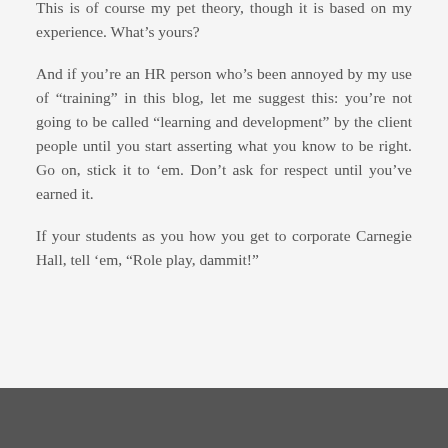This is of course my pet theory, though it is based on my experience. What's yours?
And if you're an HR person who's been annoyed by my use of “training” in this blog, let me suggest this: you're not going to be called “learning and development” by the client people until you start asserting what you know to be right. Go on, stick it to ‘em. Don’t ask for respect until you’ve earned it.
If your students as you how you get to corporate Carnegie Hall, tell ‘em, “Role play, dammit!”